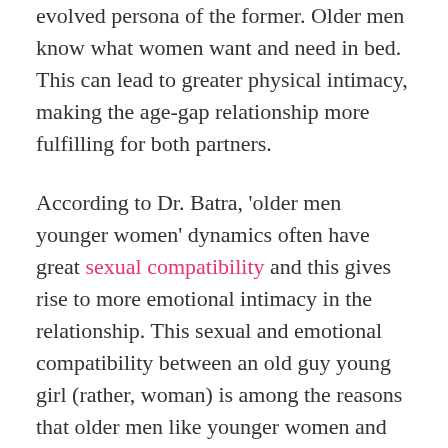evolved persona of the former. Older men know what women want and need in bed. This can lead to greater physical intimacy, making the age-gap relationship more fulfilling for both partners.
According to Dr. Batra, 'older men younger women' dynamics often have great sexual compatibility and this gives rise to more emotional intimacy in the relationship. This sexual and emotional compatibility between an old guy young girl (rather, woman) is among the reasons that older men like younger women and vice versa.